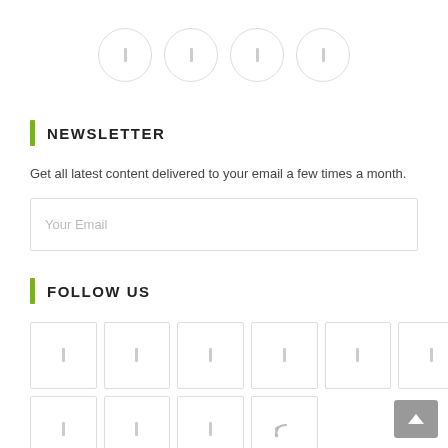[Figure (other): Four circular social media icon buttons arranged in a row at the top of the page]
NEWSLETTER
Get all latest content delivered to your email a few times a month.
Your Email
FOLLOW US
[Figure (other): Grid of 10 social media square icon buttons arranged in two rows (6 on top, 4 on bottom), with the last one showing an RSS feed icon]